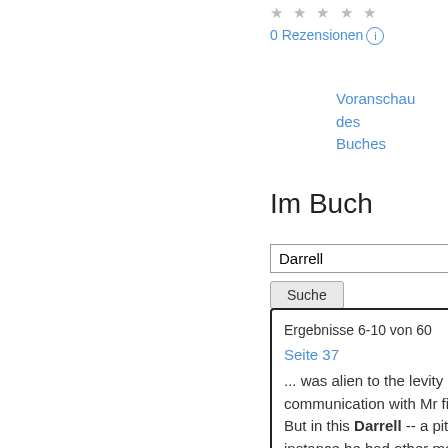★ ★ ★ ★ ★
0 Rezensionen ⓘ
Voranschau des Buches
Im Buch
Darrell [search input]
Suche [button]
Ergebnisse 6-10 von 60
Seite 37
... was alien to the levity and might be in communication with Mr fickleness of his temper . But in this Darrell -- a pity , for there was a good instance he had other motives than old family of the ...